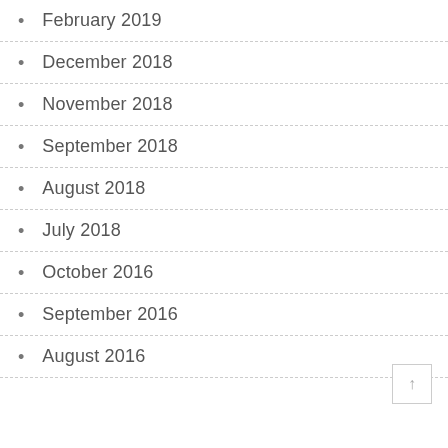February 2019
December 2018
November 2018
September 2018
August 2018
July 2018
October 2016
September 2016
August 2016